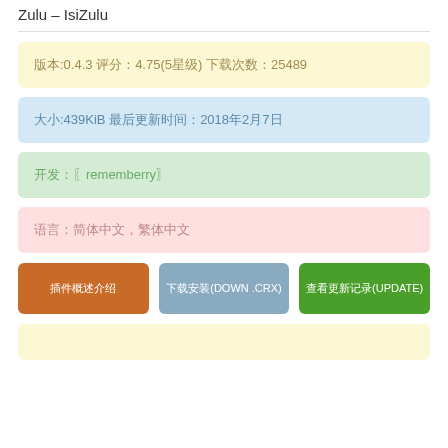Zulu – IsiZulu
版本:0.4.3 评分：4.75(5星级) 下载次数：25489
大小:439KiB 最后更新时间：2018年2月7日
开发:〖rememberry〗
语言:简体中文,繁体中文
插件概述介绍
下载安装(DOWN .CRX)
查看更新记录(UPDATE)